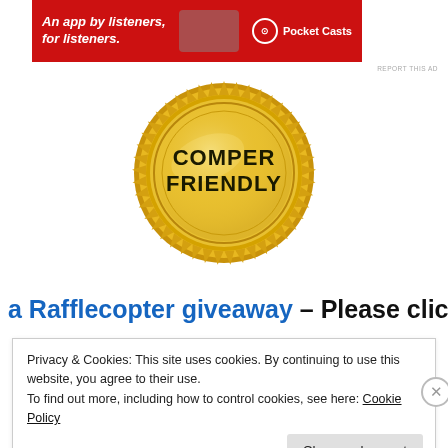[Figure (illustration): Red advertisement banner for Pocket Casts app: 'An app by listeners, for listeners.' with Pocket Casts logo and phone image]
REPORT THIS AD
[Figure (illustration): Gold seal/badge with text 'COMPER FRIENDLY' in bold black letters on a gold metallic starburst seal]
a Rafflecopter giveaway – Please click
Privacy & Cookies: This site uses cookies. By continuing to use this website, you agree to their use.
To find out more, including how to control cookies, see here: Cookie Policy
Close and accept